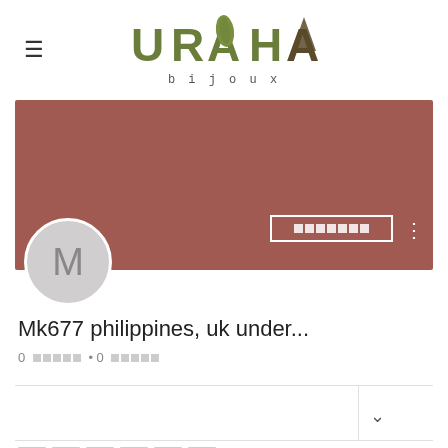[Figure (logo): URAHA bijoux logo with green leaf-shaped letters and hamburger menu icon]
[Figure (screenshot): User profile cover image in dusty rose/mauve color with a button outline containing small squares, a three-dot menu icon, circular avatar with letter M, username Mk677 philippines uk under..., follower stats, and a dropdown row]
Mk677 philippines, uk under...
0 □□□□□ • 0 □□□□□
□□□□□□